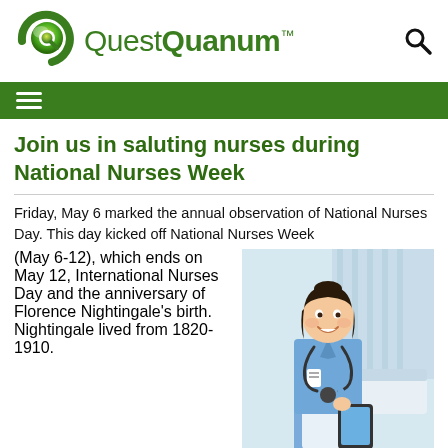[Figure (logo): QuestQuanum logo with green circular Q icon and green text reading QuestQuanum with trademark symbol]
≡ (navigation menu)
Join us in saluting nurses during National Nurses Week
Friday, May 6 marked the annual observation of National Nurses Day. This day kicked off National Nurses Week (May 6-12), which ends on May 12, International Nurses Day and the anniversary of Florence Nightingale's birth. Nightingale lived from 1820-1910.
[Figure (photo): Photo of a smiling female nurse in blue scrubs holding a tablet, with a stethoscope around her neck, standing in a hospital room]